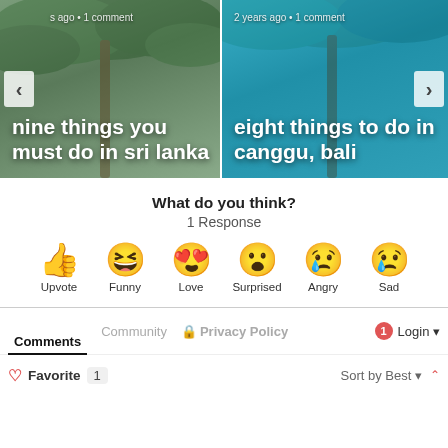[Figure (screenshot): Carousel of travel blog post cards. Left card shows 'nine things you must do in sri lanka' with palm tree background, meta text partially visible. Right card shows 'eight things to do in canggu, bali' with tropical/teal background, meta '2 years ago · 1 comment'. Navigation arrows on left and right edges.]
What do you think?
1 Response
[Figure (infographic): Six emoji reaction buttons in a row: thumbs up (Upvote), grinning squinting face with tongue (Funny), heart eyes (Love), astonished face (Surprised), crying face (Angry), crying/sad face (Sad)]
Comments  Community  🔒 Privacy Policy  1  Login ▾
♡ Favorite  1    Sort by Best ▾  ∧